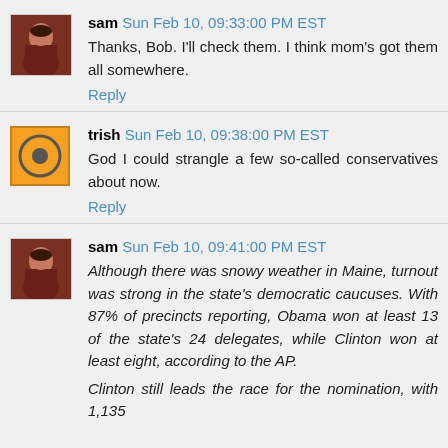sam Sun Feb 10, 09:33:00 PM EST
Thanks, Bob. I'll check them. I think mom's got them all somewhere.
Reply
trish Sun Feb 10, 09:38:00 PM EST
God I could strangle a few so-called conservatives about now.
Reply
sam Sun Feb 10, 09:41:00 PM EST
Although there was snowy weather in Maine, turnout was strong in the state's democratic caucuses. With 87% of precincts reporting, Obama won at least 13 of the state's 24 delegates, while Clinton won at least eight, according to the AP.
Clinton still leads the race for the nomination, with 1,135